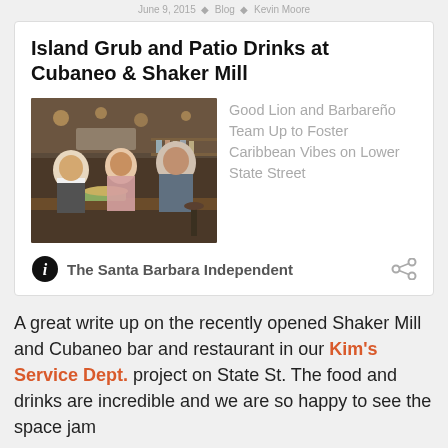June 9, 2015 | Blog | Kevin Moore
Island Grub and Patio Drinks at Cubaneo & Shaker Mill
[Figure (photo): Three people standing at a bar/restaurant counter with food in front of them]
Good Lion and Barbareño Team Up to Foster Caribbean Vibes on Lower State Street
The Santa Barbara Independent
A great write up on the recently opened Shaker Mill and Cubaneo bar and restaurant in our Kim's Service Dept. project on State St. The food and drinks are incredible and we are so happy to see the space jam